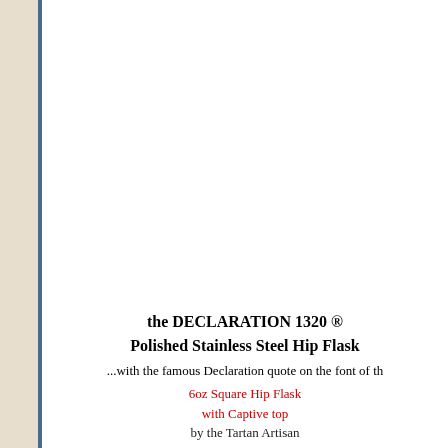the DECLARATION 1320 ® Polished Stainless Steel Hip Flask
...with the famous Declaration quote on the font of th
6oz Square Hip Flask with Captive top by the Tartan Artisan